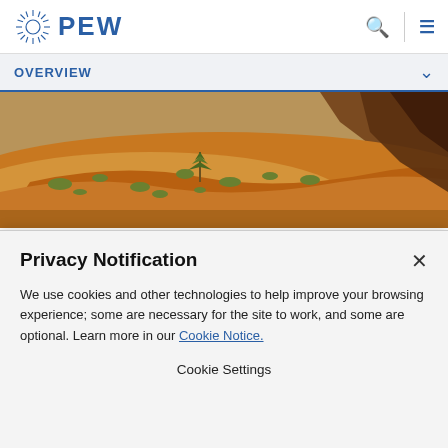[Figure (logo): Pew Charitable Trusts logo with sunburst icon and PEW text in blue]
OVERVIEW
[Figure (photo): Desert landscape with red sand dunes, scrub vegetation, and rock formations]
ARTICLE   September 18, 2017
The President Can Build a Conservation Legacy
Privacy Notification
We use cookies and other technologies to help improve your browsing experience; some are necessary for the site to work, and some are optional. Learn more in our Cookie Notice.
Cookie Settings